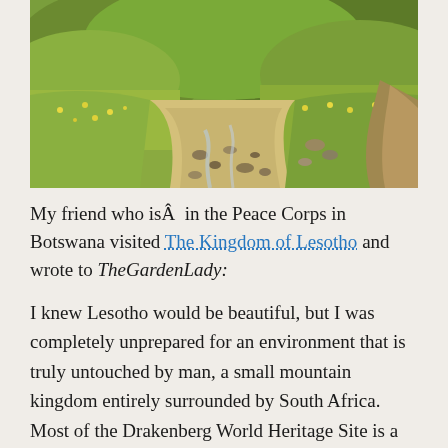[Figure (photo): Landscape photo of Lesotho showing a winding sandy riverbed with rocky areas, green grassy hills, and yellow wildflowers on both sides of the river.]
My friend who isÂ  in the Peace Corps in Botswana visited The Kingdom of Lesotho and wrote to TheGardenLady:
I knew Lesotho would be beautiful, but I was completely unprepared for an environment that is truly untouched by man, a small mountain kingdom entirely surrounded by South Africa. Most of the Drakenberg World Heritage Site is a spectacular and seemingly unpenetrable range of mountain and wilderness, looking exactly as it would have before humans walked the planet. Â It was indeed a